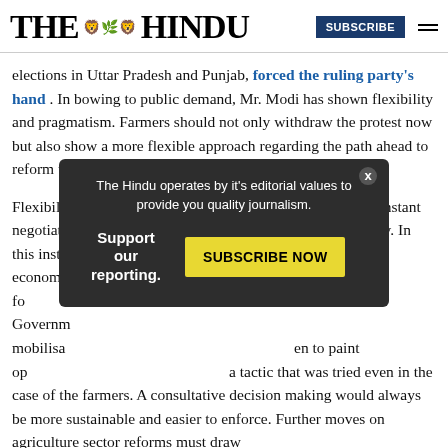THE HINDU | SUBSCRIBE
elections in Uttar Pradesh and Punjab, forced the ruling party's hand . In bowing to public demand, Mr. Modi has shown flexibility and pragmatism. Farmers should not only withdraw the protest now but also show a more flexible approach regarding the path ahead to reform the sector.
Flexibility is not a bad trait in democracy, which is about constant negotiations, but it should not be merely political expediency. In this instance, the agitators were socially dominant, and economically [obscured by popup] ility the BJP fou[obscured] for the Governm[obscured] mobilisa[obscured] en to paint op[obscured] a tactic that was tried even in the case of the farmers. A consultative decision making would always be more sustainable and easier to enforce. Further moves on agriculture sector reforms must draw
[Figure (screenshot): Popup overlay: 'The Hindu operates by it’s editorial values to provide you quality journalism. Support our reporting. SUBSCRIBE NOW button in yellow.']